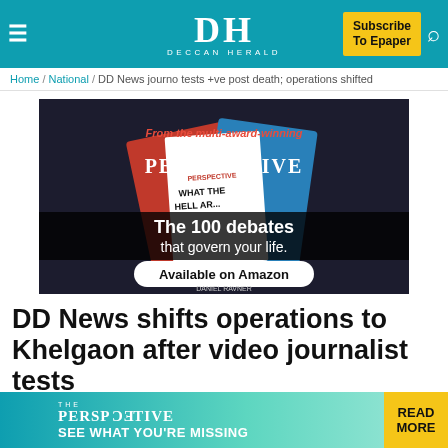Deccan Herald — Subscribe To Epaper
Home / National / DD News journo tests +ve post death; operations shifted
[Figure (photo): Advertisement for 'The Perspective' book by Daniel Ravner — 'From the multi-award-winning The PERSPECTIVE — What The Hell Ar[e You Thinking] — The 100 debates that govern your life. Available on Amazon']
DD News shifts operations to Khelgaon after video journalist tests
[Figure (other): Sticky bottom ad bar: THE PERSPECTIVE — SEE WHAT YOU'RE MISSING — READ MORE]